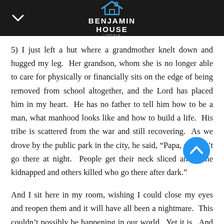Benjamin House
5) I just left a hut where a grandmother knelt down and hugged my leg.  Her grandson, whom she is no longer able to care for physically or financially sits on the edge of being removed from school altogether, and the Lord has placed him in my heart.  He has no father to tell him how to be a man, what manhood looks like and how to build a life.  His tribe is scattered from the war and still recovering.  As we drove by the public park in the city, he said, “Papa, we don’t go there at night.  People get their neck sliced and some kidnapped and others killed who go there after dark.”
And I sit here in my room, wishing I could close my eyes and reopen them and it will have all been a nightmare.  This couldn’t possibly be happening in our world.  Yet it is.  And the tough